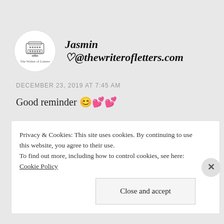Jasmin ♡@thewriterofletters.com
DECEMBER 23, 2019 AT 7:45 AM
Good reminder 😊💕💕
Liked by 1 person
REPLY
Privacy & Cookies: This site uses cookies. By continuing to use this website, you agree to their use.
To find out more, including how to control cookies, see here: Cookie Policy
Close and accept